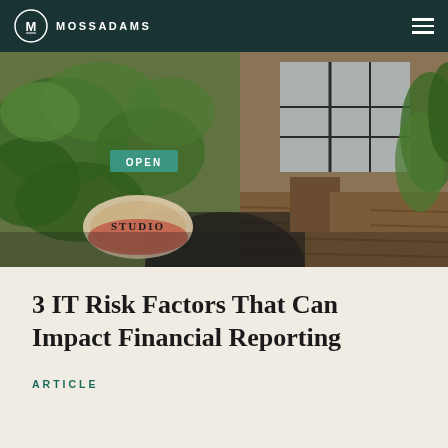MOSSADAMS
[Figure (photo): Exterior photo of an art studio entrance covered in green moss/vines with a 'STUDIO' sign and 'OPEN' sign, showing a wooden interior visible through doorway]
3 IT Risk Factors That Can Impact Financial Reporting
ARTICLE